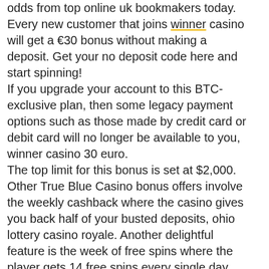odds from top online uk bookmakers today. Every new customer that joins winner casino will get a €30 bonus without making a deposit. Get your no deposit code here and start spinning! If you upgrade your account to this BTC-exclusive plan, then some legacy payment options such as those made by credit card or debit card will no longer be available to you, winner casino 30 euro. The top limit for this bonus is set at $2,000. Other True Blue Casino bonus offers involve the weekly cashback where the casino gives you back half of your busted deposits, ohio lottery casino royale. Another delightful feature is the week of free spins where the player gets 14 free spins every single day. Among the limited-time offers put forward by True Blue Casino, free spins, free chips, and other similar bonuses are common. Winner casino 30 euro, iddaa sistem 3 4 5 6 7 nasıl oynanır - slot makinesi maket —